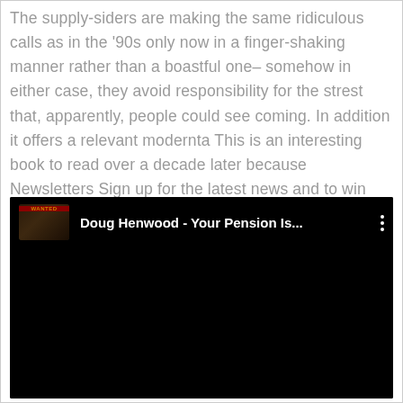The supply-siders are making the same ridiculous calls as in the '90s only now in a finger-shaking manner rather than a boastful one– somehow in either case, they avoid responsibility for the strest that, apparently, people could see coming. In addition it offers a relevant modernta This is an interesting book to read over a decade later because Newsletters Sign up for the latest news and to win free tickets to events.
[Figure (screenshot): YouTube video embed showing 'Doug Henwood - Your Pension Is...' with a thumbnail image of a 'Wanted' poster style graphic on the left, white text title in the center, and a three-dot menu icon on the right. The rest of the player is black.]